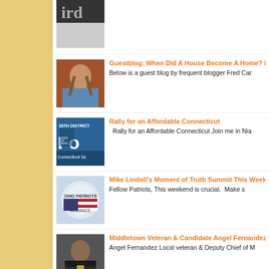[Figure (photo): Partial logo/text image at top, letters 'ird' visible on dark background]
[Figure (photo): Photo of a person with long dark hair wearing a blue top]
Guestblog: When Did A House Become A Home? B
Below is a guest blog by frequent blogger Fred Car
[Figure (photo): 30th District Connecticut Senate campaign poster with 'For' text]
Rally for an Affordable Connecticut
Rally for an Affordable Connecticut Join me in Nia
[Figure (photo): Ohio Patriots Alliance logo with state outline and American flag]
Mike Lindell's Moment of Truth Summit This Weeke
Fellow Patriots, This weekend is crucial.  Make s
[Figure (photo): Professional headshot of a man in a suit, Angel Fernandez]
Middletown Veteran & Candidate Angel Fernandez
Angel Fernandez Local veteran & Deputy Chief of M